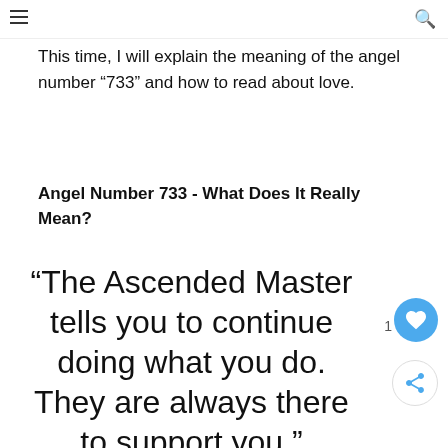This time, I will explain the meaning of the angel number “733” and how to read about love.
Angel Number 733 - What Does It Really Mean?
“The Ascended Master tells you to continue doing what you do. They are always there to support you.”